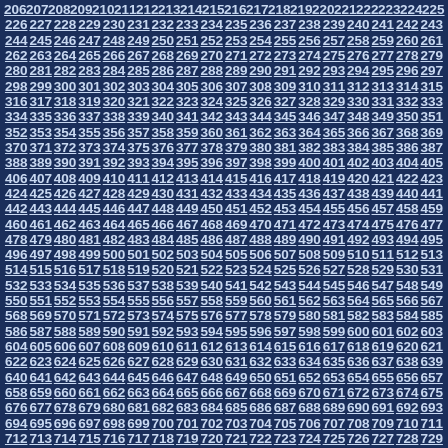206 207 208 209 210 211 212 213 214 215 216 217 218 219 220 221 222 223 224 225 226 227 228 229 230 231 232 233 234 235 236 237 238 239 240 241 242 243 244 245 246 247 248 249 250 251 252 253 254 255 256 257 258 259 260 261 262 263 264 265 266 267 268 269 270 271 272 273 274 275 276 277 278 279 280 281 282 283 284 285 286 287 288 289 290 291 292 293 294 295 296 297 298 299 300 301 302 303 304 305 306 307 308 309 310 311 312 313 314 315 316 317 318 319 320 321 322 323 324 325 326 327 328 329 330 331 332 333 334 335 336 337 338 339 340 341 342 343 344 345 346 347 348 349 350 351 352 353 354 355 356 357 358 359 360 361 362 363 364 365 366 367 368 369 370 371 372 373 374 375 376 377 378 379 380 381 382 383 384 385 386 387 388 389 390 391 392 393 394 395 396 397 398 399 400 401 402 403 404 405 406 407 408 409 410 411 412 413 414 415 416 417 418 419 420 421 422 423 424 425 426 427 428 429 430 431 432 433 434 435 436 437 438 439 440 441 442 443 444 445 446 447 448 449 450 451 452 453 454 455 456 457 458 459 460 461 462 463 464 465 466 467 468 469 470 471 472 473 474 475 476 477 478 479 480 481 482 483 484 485 486 487 488 489 490 491 492 493 494 495 496 497 498 499 500 501 502 503 504 505 506 507 508 509 510 511 512 513 514 515 516 517 518 519 520 521 522 523 524 525 526 527 528 529 530 531 532 533 534 535 536 537 538 539 540 541 542 543 544 545 546 547 548 549 550 551 552 553 554 555 556 557 558 559 560 561 562 563 564 565 566 567 568 569 570 571 572 573 574 575 576 577 578 579 580 581 582 583 584 585 586 587 588 589 590 591 592 593 594 595 596 597 598 599 600 601 602 603 604 605 606 607 608 609 610 611 612 613 614 615 616 617 618 619 620 621 622 623 624 625 626 627 628 629 630 631 632 633 634 635 636 637 638 639 640 641 642 643 644 645 646 647 648 649 650 651 652 653 654 655 656 657 658 659 660 661 662 663 664 665 666 667 668 669 670 671 672 673 674 675 676 677 678 679 680 681 682 683 684 685 686 687 688 689 690 691 692 693 694 695 696 697 698 699 700 701 702 703 704 705 706 707 708 709 710 711 712 713 714 715 716 717 718 719 720 721 722 723 724 725 726 727 728 729